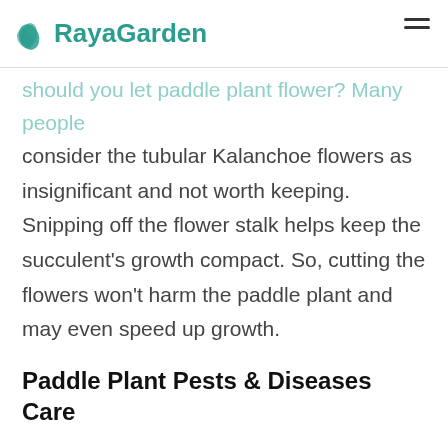RayaGarden
consider the tubular Kalanchoe flowers as insignificant and not worth keeping. Snipping off the flower stalk helps keep the succulent's growth compact. So, cutting the flowers won't harm the paddle plant and may even speed up growth.
Paddle Plant Pests & Diseases Care
Paddle Plant  (Kalanchoe Luciae) experiences little or no disease or pest problems as long as the plant is properly watered and receives plenty of sun and good air circulation.
Overwatering or excessive fertilizing can lead to problems with powdery mildew, root rot, mealybug